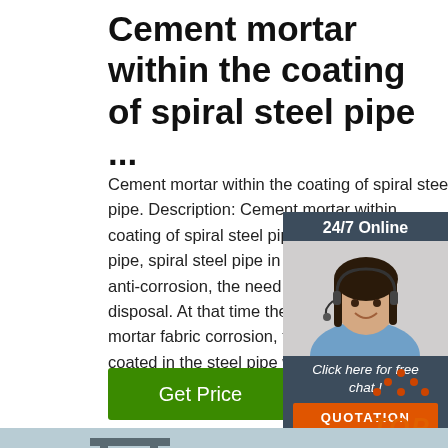Cement mortar within the coating of spiral steel pipe ...
Cement mortar within the coating of spiral steel pipe. Description: Cement mortar within the coating of spiral steel pipe; Municipal wa pipe, spiral steel pipe in addition to outsi anti-corrosion, the need for internal anti- disposal. At that time the most use of ce mortar fabric corrosion, the method is ev coated in the steel pipe wall layer of cem mortar ...
[Figure (photo): 24/7 Online chat widget with female agent photo, 'Click here for free chat!' text, and orange QUOTATION button]
[Figure (other): TOP navigation button with orange dot-triangle icon and orange italic TOP text]
[Figure (photo): Bottom photograph showing industrial/infrastructure scene with bridge structure]